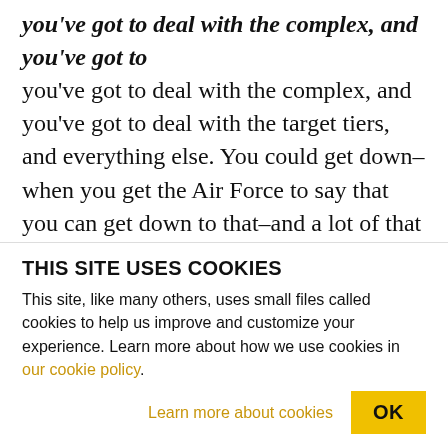you've got to deal with the complex, and you've got to deal with the target tiers, and everything else. You could get down–when you get the Air Force to say that you can get down to that–and a lot of that reasoning was behind the Moscow Treaty in 2002 when we really, essentially, said, with Russia agreeing, that we were both, with 30,000, roughly, each at that time, going to come down to somewhere between 1200 and 2200. And then we move on from there. That was a monumental accomplishment that Powell got very little credit for.
THIS SITE USES COOKIES
This site, like many others, uses small files called cookies to help us improve and customize your experience. Learn more about how we use cookies in our cookie policy.
Learn more about cookies
OK